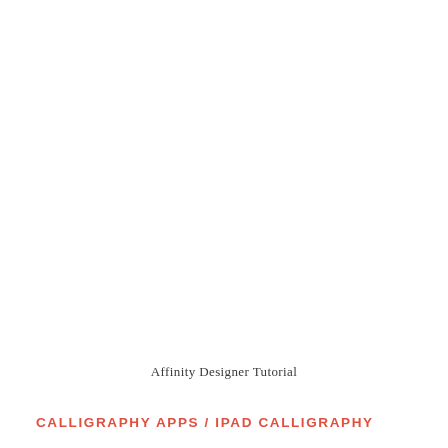Affinity Designer Tutorial
CALLIGRAPHY APPS / IPAD CALLIGRAPHY